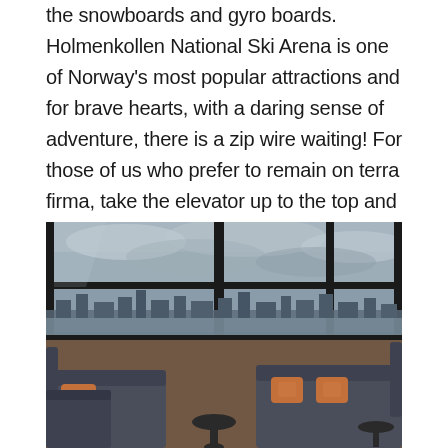the snowboards and gyro boards. Holmenkollen National Ski Arena is one of Norway's most popular attractions and for brave hearts, with a daring sense of adventure, there is a zip wire waiting! For those of us who prefer to remain on terra firma, take the elevator up to the top and admire the spectacular sweeping views over the city.
[Figure (photo): Interior of a high-rise lounge or bar with floor-to-ceiling black-framed windows showing a panoramic city view under a cloudy sky. Dark grey sofas and chairs with orange accent pillows arranged around small round tables on a wooden floor.]